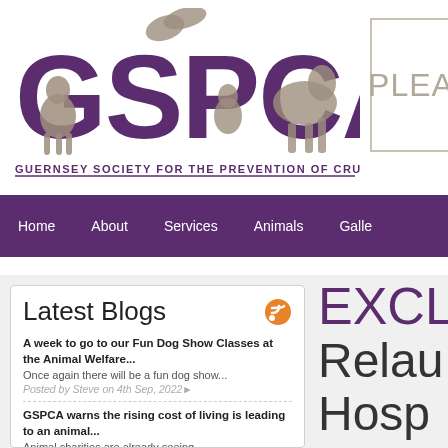[Figure (logo): GSPCA logo with large purple letters and silhouettes of animals, text reads GUERNSEY SOCIETY FOR THE PREVENTION OF CRUELTY TO ANIMALS]
PLEA
Home   About   Services   Animals   Galle
Latest Blogs
A week to go to our Fun Dog Show Classes at the Animal Welfare...
Once again there will be a fun dog show...
Posted by Steve on 4th Sep, 2022
GSPCA warns the rising cost of living is leading to an animal...
Animal charities are already seeing...
EXCL
Relau
Hosp